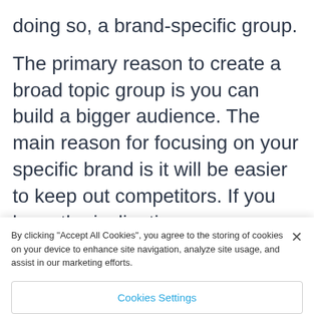doing so, a brand-specific group.
The primary reason to create a broad topic group is you can build a bigger audience. The main reason for focusing on your specific brand is it will be easier to keep out competitors. If you have the inclination, you
By clicking “Accept All Cookies”, you agree to the storing of cookies on your device to enhance site navigation, analyze site usage, and assist in our marketing efforts.
Cookies Settings
Reject All
Accept All Cookies